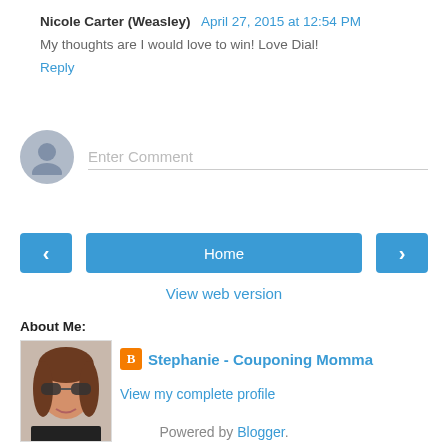Nicole Carter (Weasley)  April 27, 2015 at 12:54 PM
My thoughts are I would love to win! Love Dial!
Reply
[Figure (illustration): Enter Comment input field with generic user avatar circle on the left]
[Figure (illustration): Navigation bar with left arrow button, Home button, right arrow button]
View web version
About Me:
[Figure (photo): Photo of Stephanie - a woman with sunglasses inside a car]
Stephanie - Couponing Momma
View my complete profile
Powered by Blogger.